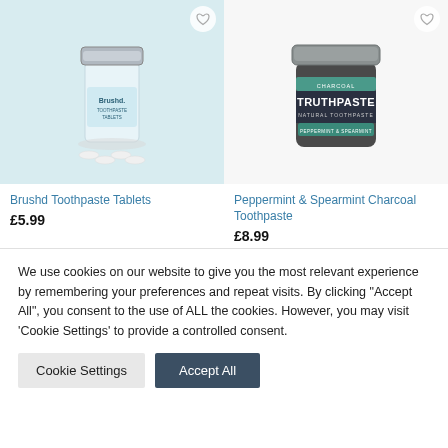[Figure (photo): Brushd Toothpaste Tablets product in a small glass jar with silver lid on a light blue background]
Brushd Toothpaste Tablets
£5.99
[Figure (photo): Peppermint & Spearmint Charcoal Toothpaste in a dark glass jar with silver lid on white background, label reads CHARCOAL TRUTHPASTE NATURAL TOOTHPASTE PEPPERMINT & SPEARMINT]
Peppermint & Spearmint Charcoal Toothpaste
£8.99
We use cookies on our website to give you the most relevant experience by remembering your preferences and repeat visits. By clicking "Accept All", you consent to the use of ALL the cookies. However, you may visit 'Cookie Settings' to provide a controlled consent.
Cookie Settings
Accept All